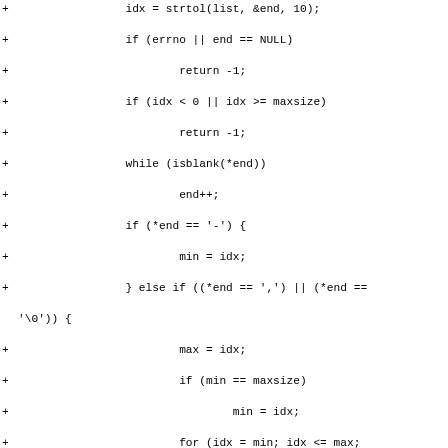Diff/patch code block showing C code additions for parsing a list of indices with range support, including strtol parsing, blank skipping, range detection, loop filling values array, and final count check.